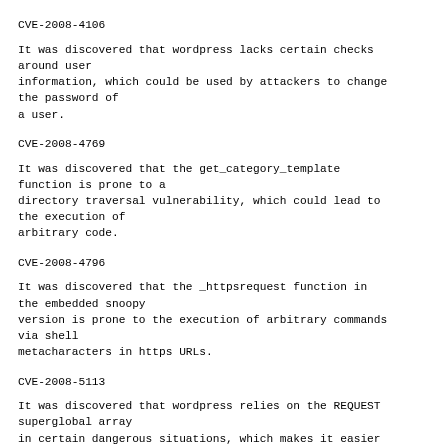CVE-2008-4106
It was discovered that wordpress lacks certain checks around user
information, which could be used by attackers to change the password of
a user.
CVE-2008-4769
It was discovered that the get_category_template function is prone to a
directory traversal vulnerability, which could lead to the execution of
arbitrary code.
CVE-2008-4796
It was discovered that the _httpsrequest function in the embedded snoopy
version is prone to the execution of arbitrary commands via shell
metacharacters in https URLs.
CVE-2008-5113
It was discovered that wordpress relies on the REQUEST superglobal array
in certain dangerous situations, which makes it easier